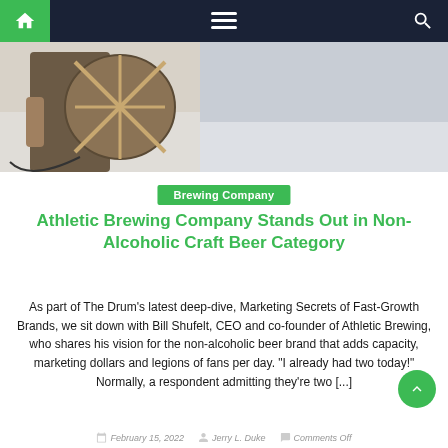Navigation bar with home, menu, and search icons
[Figure (photo): Person holding a round wooden surfboard or shield-like object, photographed from behind against a light background]
Brewing Company
Athletic Brewing Company Stands Out in Non-Alcoholic Craft Beer Category
As part of The Drum's latest deep-dive, Marketing Secrets of Fast-Growth Brands, we sit down with Bill Shufelt, CEO and co-founder of Athletic Brewing, who shares his vision for the non-alcoholic beer brand that adds capacity, marketing dollars and legions of fans per day. "I already had two today!" Normally, a respondent admitting they're two [...]
February 15, 2022   Jerry L. Duke   Comments Off